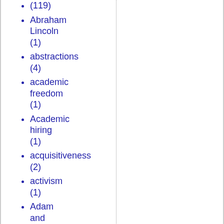(119)
Abraham Lincoln (1)
abstractions (4)
academic freedom (1)
Academic hiring (1)
acquisitiveness (2)
activism (1)
Adam and Eve (7)
Adam Smith (2)
Adoption (1)